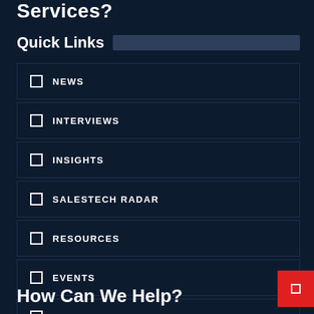Services?
Quick Links
NEWS
INTERVIEWS
INSIGHTS
SALESTECH RADAR
RESOURCES
EVENTS
CONTACT US
How Can We Help?